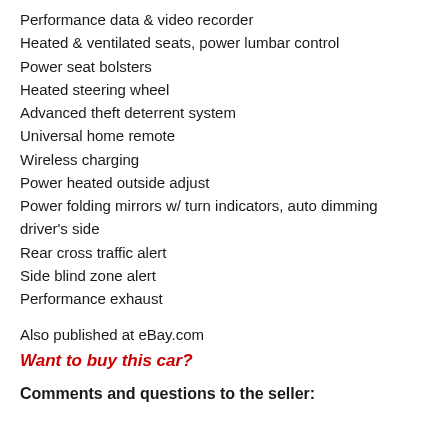Performance data & video recorder
Heated & ventilated seats, power lumbar control
Power seat bolsters
Heated steering wheel
Advanced theft deterrent system
Universal home remote
Wireless charging
Power heated outside adjust
Power folding mirrors w/ turn indicators, auto dimming driver's side
Rear cross traffic alert
Side blind zone alert
Performance exhaust
Also published at eBay.com
Want to buy this car?
Comments and questions to the seller: